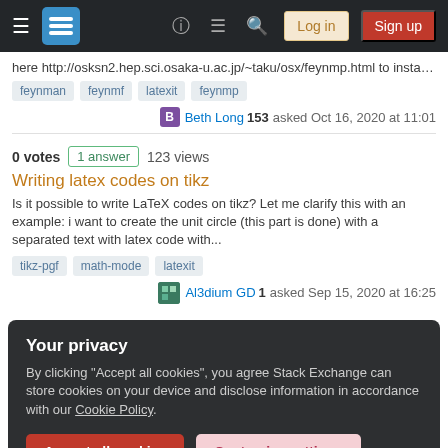[Figure (screenshot): Stack Exchange navigation bar with hamburger menu, logo, icons, Log in and Sign up buttons]
here http://osksn2.hep.sci.osaka-u.ac.jp/~taku/osx/feynmp.html to install feynmp a...
feynman
feynmf
latexit
feynmp
Beth Long 153 asked Oct 16, 2020 at 11:01
0 votes  1 answer  123 views
Writing latex codes on tikz
Is it possible to write LaTeX codes on tikz? Let me clarify this with an example: i want to create the unit circle (this part is done) with a separated text with latex code with...
tikz-pgf
math-mode
latexit
Al3dium GD 1 asked Sep 15, 2020 at 16:25
Your privacy
By clicking "Accept all cookies", you agree Stack Exchange can store cookies on your device and disclose information in accordance with our Cookie Policy.
Accept all cookies
Customize settings
John D 201 asked Aug 31, 2020 at 10:33